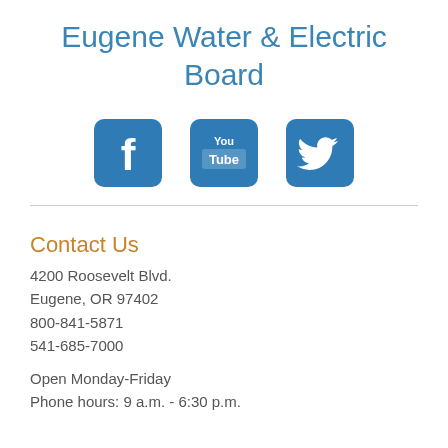Eugene Water & Electric Board
[Figure (logo): Three social media icons: Facebook (f logo), YouTube (YouTube logo), and Twitter (bird logo), each in a blue rounded square button]
Contact Us
4200 Roosevelt Blvd.
Eugene, OR 97402
800-841-5871
541-685-7000
Open Monday-Friday
Phone hours: 9 a.m. - 6:30 p.m.